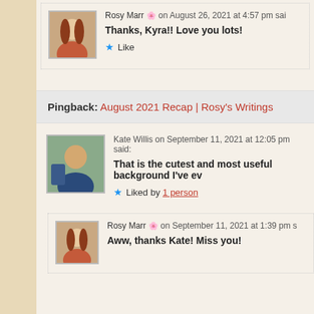Rosy Marr 🌸 on August 26, 2021 at 4:57 pm said:
Thanks, Kyra!! Love you lots!
★ Like
Pingback: August 2021 Recap | Rosy's Writings
Kate Willis on September 11, 2021 at 12:05 pm said:
That is the cutest and most useful background I've ev
★ Liked by 1 person
Rosy Marr 🌸 on September 11, 2021 at 1:39 pm s
Aww, thanks Kate! Miss you!